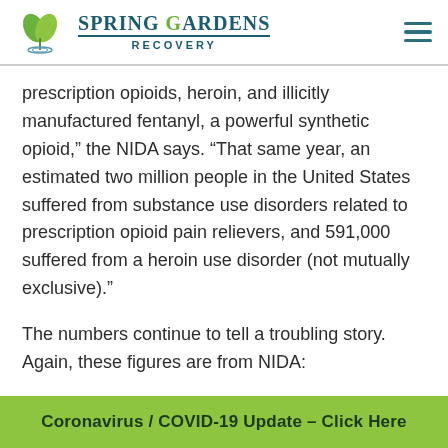Spring Gardens Recovery
prescription opioids, heroin, and illicitly manufactured fentanyl, a powerful synthetic opioid,” the NIDA says. “That same year, an estimated two million people in the United States suffered from substance use disorders related to prescription opioid pain relievers, and 591,000 suffered from a heroin use disorder (not mutually exclusive).”
The numbers continue to tell a troubling story.  Again, these figures are from NIDA:
Approximately 21% to 29% of patients who have been...
Coronavirus / COVID-19 Update – Click Here